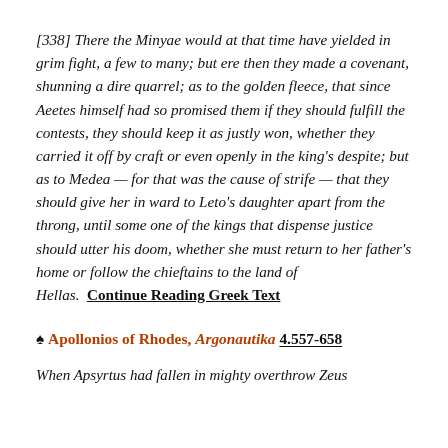[338] There the Minyae would at that time have yielded in grim fight, a few to many; but ere then they made a covenant, shunning a dire quarrel; as to the golden fleece, that since Aeetes himself had so promised them if they should fulfill the contests, they should keep it as justly won, whether they carried it off by craft or even openly in the king's despite; but as to Medea — for that was the cause of strife — that they should give her in ward to Leto's daughter apart from the throng, until some one of the kings that dispense justice should utter his doom, whether she must return to her father's home or follow the chieftains to the land of Hellas.  Continue Reading Greek Text
♠ Apollonios of Rhodes, Argonautika 4.557-658
When Apsyrtus had fallen in mighty overthrow Zeus